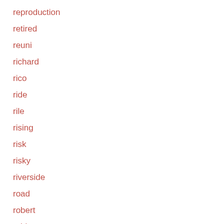reproduction
retired
reuni
richard
rico
ride
rile
rising
risk
risky
riverside
road
robert
robinson
rodin
roger
rollins